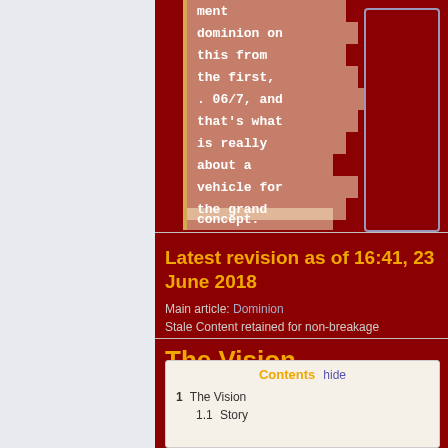[Figure (screenshot): Dark red wiki page top section showing a staircase-style quote box with cream/yellow background blocks containing white monospace text fragments: 'ment', 'dominion on', 'this from', 'the first,', '. 06/7, and', 'that’s what', 'is really', 'about a', 'vehicle for', 'the grand', 'concept.' with a yellow left border. A gray-bordered box sits to the right on dark red background.]
Latest revision as of 16:41, 23 June 2018
Main article: Dominion
Stale Content retained for non-breakage
The Vision
| Contents | hide |
| --- | --- |
| 1 | The Vision |
| 1.1 | Story |